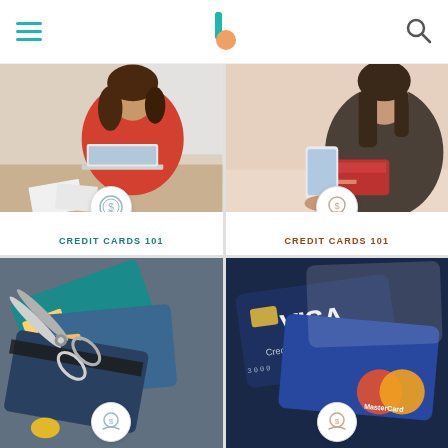Kiplinger navigation header with hamburger menu, logo, and search icon
[Figure (photo): Woman in red top sitting on couch working on laptop]
CREDIT CARDS 101
Should You Open a Card With a 0% APR Offer?
[Figure (photo): Young woman looking at phone/card, holding credit card]
CREDIT CARDS 101
PayPal Credit vs. PayPal Cashback Mastercard: What's the Difference?
[Figure (photo): Scissors cutting credit cards]
[Figure (photo): Stack of Visa and MasterCard credit cards]